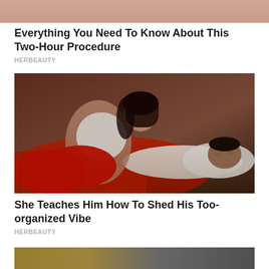[Figure (photo): Partial view of a person, cropped at top of page]
Everything You Need To Know About This Two-Hour Procedure
HERBEAUTY
[Figure (photo): A woman in a white top and red bottoms leaning over a man in a white shirt lying on a bed with red bedding]
She Teaches Him How To Shed His Too-organized Vibe
HERBEAUTY
[Figure (photo): Partial view of a blurred image at the bottom of page]